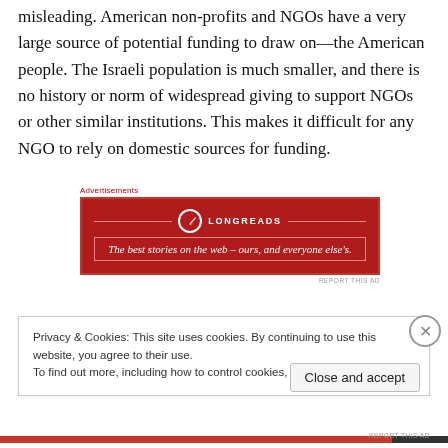misleading. American non-profits and NGOs have a very large source of potential funding to draw on—the American people. The Israeli population is much smaller, and there is no history or norm of widespread giving to support NGOs or other similar institutions. This makes it difficult for any NGO to rely on domestic sources for funding.
[Figure (other): Longreads advertisement banner: red background with Longreads logo and tagline 'The best stories on the web – ours, and everyone else's.']
This connects back to the first point about the bill serving
Privacy & Cookies: This site uses cookies. By continuing to use this website, you agree to their use.
To find out more, including how to control cookies, see here: Cookie Policy
Close and accept